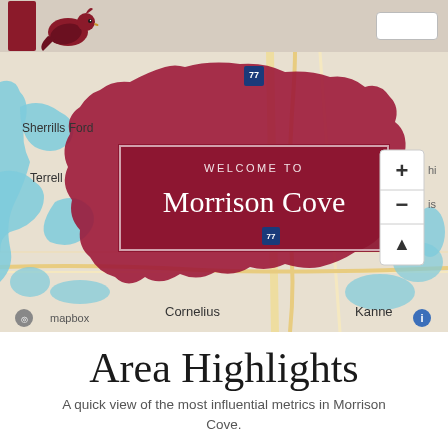[Figure (logo): Cardinal bird logo / mascot in red and dark colors]
[Figure (map): Mapbox map showing Morrison Cove neighborhood highlighted in dark red/maroon, with surrounding areas including Sherrills Ford, Terrell, Cornelius, and Kannapolis visible. Lake Norman shown in blue. I-77 interstate shown. Welcome to Morrison Cove overlay box in center.]
Area Highlights
A quick view of the most influential metrics in Morrison Cove.